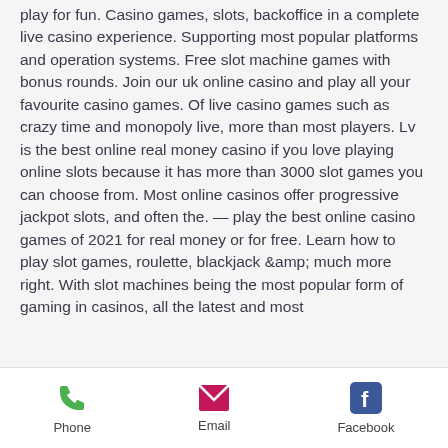play for fun. Casino games, slots, backoffice in a complete live casino experience. Supporting most popular platforms and operation systems. Free slot machine games with bonus rounds. Join our uk online casino and play all your favourite casino games. Of live casino games such as crazy time and monopoly live, more than most players. Lv is the best online real money casino if you love playing online slots because it has more than 3000 slot games you can choose from. Most online casinos offer progressive jackpot slots, and often the. — play the best online casino games of 2021 for real money or for free. Learn how to play slot games, roulette, blackjack &amp; much more right. With slot machines being the most popular form of gaming in casinos, all the latest and most
Phone | Email | Facebook